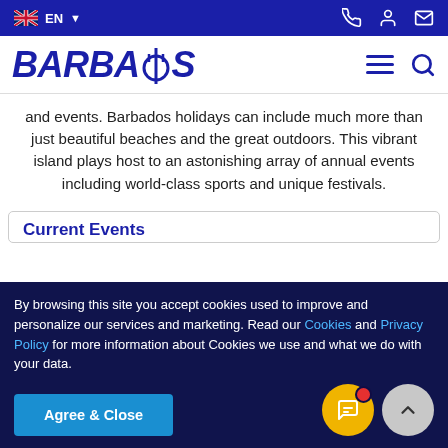EN | navigation icons
[Figure (logo): BARBADOS logo with trident icon in blue italic bold text]
and events. Barbados holidays can include much more than just beautiful beaches and the great outdoors. This vibrant island plays host to an astonishing array of annual events including world-class sports and unique festivals.
Current Events
By browsing this site you accept cookies used to improve and personalize our services and marketing. Read our Cookies and Privacy Policy for more information about Cookies we use and what we do with your data.